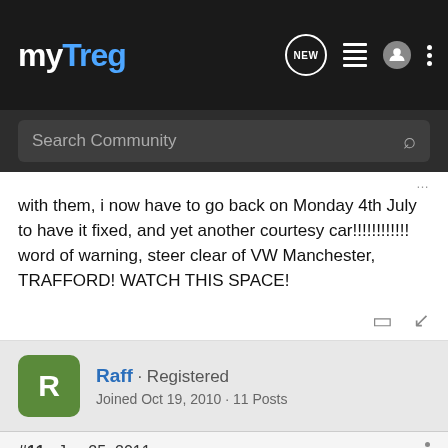myTreg
Search Community
with them, i now have to go back on Monday 4th July to have it fixed, and yet another courtesy car!!!!!!!!!!!! word of warning, steer clear of VW Manchester, TRAFFORD! WATCH THIS SPACE!
Raff · Registered
Joined Oct 19, 2010 · 11 Posts
#11 · Jan 25, 2011
Paztouareg said:
Ha Ha bet you were well pleased with that Rich!!!!!